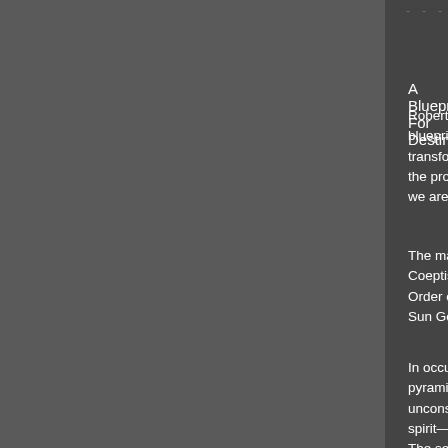A Blueprint For Destiny
Robert Heironomus says that "America's Great Seal is a blueprint for the elevation of consciousness. It says, we must transform ourselves before we can change the world. It is through the process of self-transformation that we can catch a glimpse of the role we are to play in national and global transformation."
The mandala of the New World Order and Illuminati contains "Annuit Coeptis—He has Blessed our Beginning", "Novus Ordo Seclorum—New Order of the Ages". The All-Seeing Eye of Horus, the Egyptian Sun God, biblically refered to as Lucifer, the angel of
In occult doctrine it is thought that "from the union of spirit and matter,... the pyramid is made of stone, rock, and earth—and represents the subconscious. The capstone is made of an immaterial substance (air, fire, spirit—and is conscious), a new being—a transformed being is born. The seal's reverse depicts a separation state in the square base and the triangle."
"The pyramid exemplifies the initiation stage,... it is the stage of initiation in which the candidate confronts the world of darkness before embracing the world of spirit. By passing the tests of the elements, the candidate becomes initiated into the realm of higher consciousness." (He then joins the single eye.) After succesfully completing the initiation process, the candidate ascends and joins the single eye in the pyramid.
The New World Order, or rather the philosophy its derived from, if proven true, is one and the same as the New Age ideal of mass consciousness transformation. In order to partake in this gnostic fufi